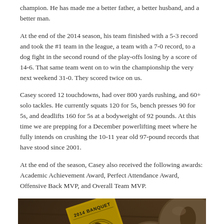champion. He has made me a better father, a better husband, and a better man.
At the end of the 2014 season, his team finished with a 5-3 record and took the #1 team in the league, a team with a 7-0 record, to a dog fight in the second round of the play-offs losing by a score of 14-6. That same team went on to win the championship the very next weekend 31-0. They scored twice on us.
Casey scored 12 touchdowns, had over 800 yards rushing, and 60+ solo tackles. He currently squats 120 for 5s, bench presses 90 for 5s, and deadlifts 160 for 5s at a bodyweight of 92 pounds. At this time we are prepping for a December powerlifting meet where he fully intends on crushing the 10-11 year old 97-pound records that have stood since 2001.
At the end of the season, Casey also received the following awards: Academic Achievement Award, Perfect Attendance Award, Offensive Back MVP, and Overall Team MVP.
[Figure (photo): Photo of a 2014 Banquet booklet/program with a Treasure Lake logo alongside two trophy globes/awards on a wooden surface.]